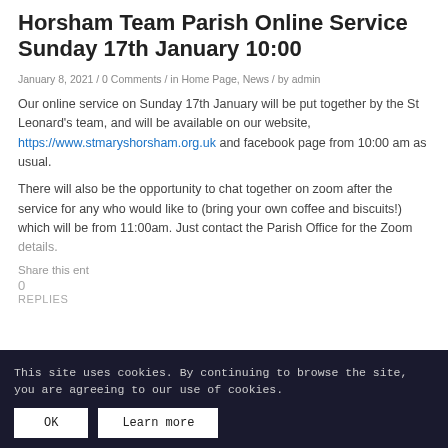Horsham Team Parish Online Service Sunday 17th January 10:00
January 8, 2021 / 0 Comments / in Home Page, News / by admin
Our online service on Sunday 17th January will be put together by the St Leonard’s team, and will be available on our website, https://www.stmaryshorsham.org.uk and facebook page from 10:00 am as usual.
There will also be the opportunity to chat together on zoom after the service for any who would like to (bring your own coffee and biscuits!) which will be from 11:00am. Just contact the Parish Office for the Zoom details.
Share this ent...
0
REPLIES
This site uses cookies. By continuing to browse the site, you are agreeing to our use of cookies.